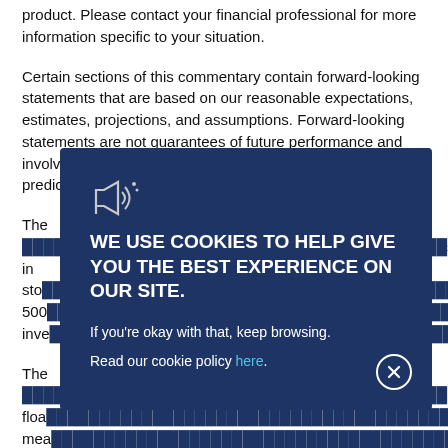product. Please contact your financial professional for more information specific to your situation.
Certain sections of this commentary contain forward-looking statements that are based on our reasonable expectations, estimates, projections, and assumptions. Forward-looking statements are not guarantees of future performance and involve certain risks and uncertainties, which are difficult to predict. Past performance does not assure future results.
The [text partially obscured] in stocks [text partially obscured] 500 [text partially obscured] and investments [text partially obscured]
The [text partially obscured] float [text partially obscured] means [text partially obscured] excluding costs of 2[text partially obscured]
One basis point (bp) is equal to 1/100th of 1 percent, or 0.01 percent.
[Figure (screenshot): Cookie consent overlay on dark blue background with megaphone icon, heading 'WE USE COOKIES TO HELP GIVE YOU THE BEST EXPERIENCE ON OUR SITE.', body text 'If you\'re okay with that, keep browsing. Read our cookie policy here.', and a close (X) button in the bottom right corner.]